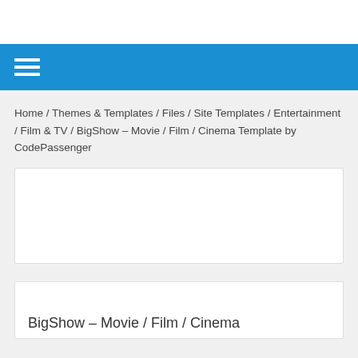Home / Themes & Templates / Files / Site Templates / Entertainment / Film & TV / BigShow – Movie / Film / Cinema Template by CodePassenger
[Figure (other): White rectangular advertisement or content placeholder box]
[Figure (other): White rectangular content box with partial title text: BigShow – Movie / Film / Cinema]
BigShow – Movie / Film / Cinema